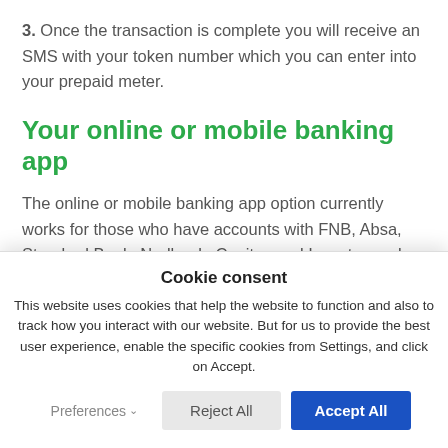3. Once the transaction is complete you will receive an SMS with your token number which you can enter into your prepaid meter.
Your online or mobile banking app
The online or mobile banking app option currently works for those who have accounts with FNB, Absa, Standard Bank, Nedbank, Capitec and Investec and are registered for online banking. If you are unsure whether
Cookie consent
This website uses cookies that help the website to function and also to track how you interact with our website. But for us to provide the best user experience, enable the specific cookies from Settings, and click on Accept.
Preferences
Reject All
Accept All